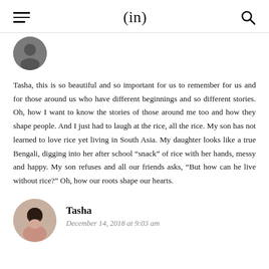(in)
[Figure (photo): Circular avatar photo of a person, partially cropped at top of page]
Tasha, this is so beautiful and so important for us to remember for us and for those around us who have different beginnings and so different stories. Oh, how I want to know the stories of those around me too and how they shape people. And I just had to laugh at the rice, all the rice. My son has not learned to love rice yet living in South Asia. My daughter looks like a true Bengali, digging into her after school “snack” of rice with her hands, messy and happy. My son refuses and all our friends asks, “But how can he live without rice?” Oh, how our roots shape our hearts.
[Figure (photo): Circular avatar photo of Tasha, a dark-haired woman]
Tasha
December 14, 2018 at 9:03 am